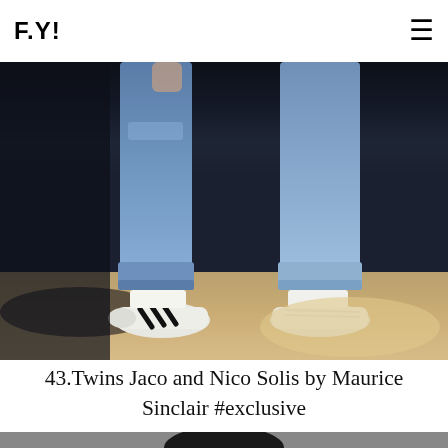F.Y!
[Figure (photo): Close-up photo of two people standing side by side wearing blue jeans cuffed at the ankle and white sneakers. One person wears Adidas Superstar sneakers with black stripes. Background is a dark wall with sunlit pavement at the bottom.]
43.Twins Jaco and Nico Solis by Maurice Sinclair #exclusive
[Figure (photo): Black and white portrait photo, partially visible at bottom of page, showing the top of a person's head with dark hair.]